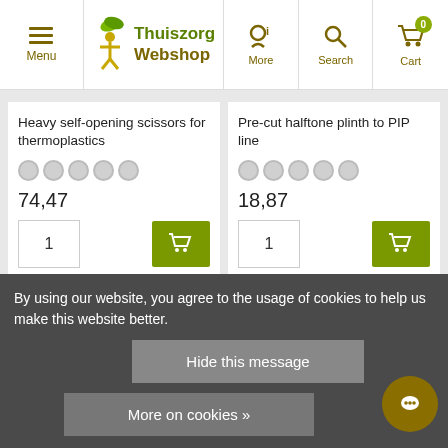Thuiszorg Webshop – Menu | More | Search | Cart
Heavy self-opening scissors for thermoplastics
74,47
In stock
Pre-cut halftone plinth to PIP line
18,87
In stock
By using our website, you agree to the usage of cookies to help us make this website better.
Hide this message
More on cookies »